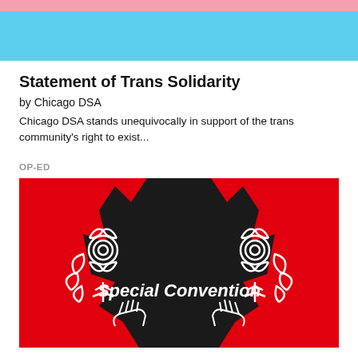[Figure (illustration): Transgender pride flag banner: pink stripe on top, blue stripe below]
Statement of Trans Solidarity
by Chicago DSA
Chicago DSA stands unequivocally in support of the trans community's right to exist...
OP-ED
[Figure (illustration): Red background graphic with black silhouette figure and white rose illustrations, text reads 'Special Convention']